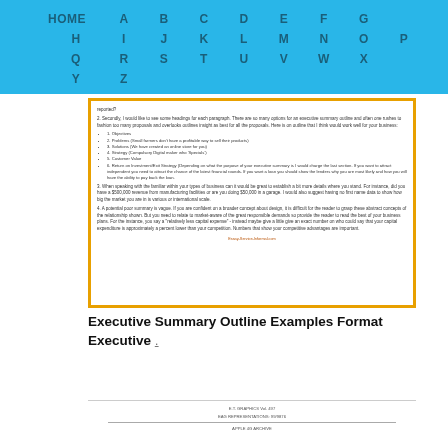HOME A B C D E F G H I J K L M N O P Q R S T U V W X Y Z
[Figure (screenshot): Screenshot of a document page about executive summary outlines with bulleted list items and body text, displayed with an orange border frame. Bottom shows a website URL link.]
Executive Summary Outline Examples Format Executive .
[Figure (screenshot): Partial screenshot of a document footer with small text lines and a horizontal rule.]